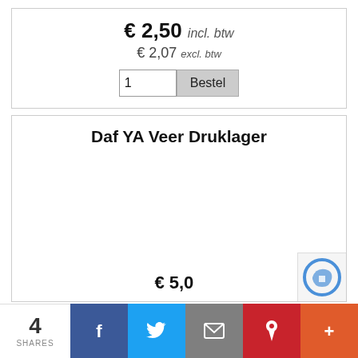€ 2,50 incl. btw
€ 2,07 excl. btw
Bestel
Daf YA Veer Druklager
4 SHARES  f  Twitter  Email  Pinterest  +